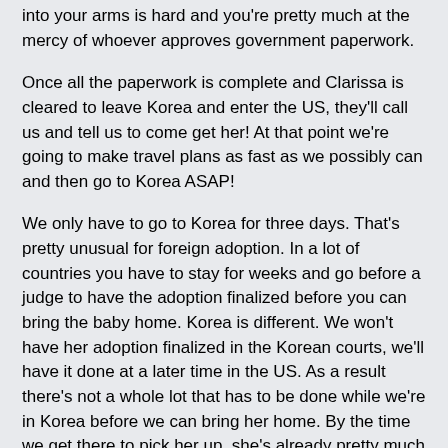into your arms is hard and you're pretty much at the mercy of whoever approves government paperwork.
Once all the paperwork is complete and Clarissa is cleared to leave Korea and enter the US, they'll call us and tell us to come get her! At that point we're going to make travel plans as fast as we possibly can and then go to Korea ASAP!
We only have to go to Korea for three days. That's pretty unusual for foreign adoption. In a lot of countries you have to stay for weeks and go before a judge to have the adoption finalized before you can bring the baby home. Korea is different. We won't have her adoption finalized in the Korean courts, we'll have it done at a later time in the US. As a result there's not a whole lot that has to be done while we're in Korea before we can bring her home. By the time we get there to pick her up, she's already pretty much ready to go.
So we're only required to go for three days, but we're hopefully planning to go for a week. If I'm going to fly halfway across the world I'm going to stick around long enough to be a tourist for a few days!